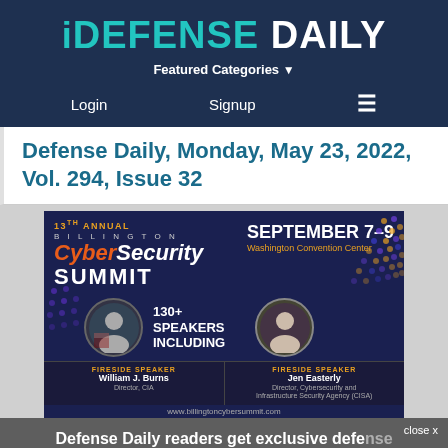DEFENSE DAILY
Featured Categories
Login   Signup   ☰
Defense Daily, Monday, May 23, 2022, Vol. 294, Issue 32
[Figure (infographic): 13th Annual Billington CyberSecurity Summit advertisement. September 7-9, Washington Convention Center. 130+ Speakers Including. Fireside Speaker: William J. Burns, Director, CIA. Fireside Speaker: Jen Easterly, Director, Cybersecurity and Infrastructure Security Agency (CISA). Website: www.billingtoncybersummit.com]
Defense Daily readers get exclusive defense industry news–every business day. Subscribe Here